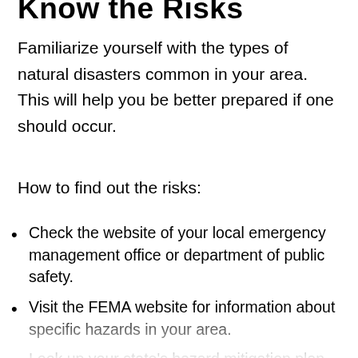Know the Risks
Familiarize yourself with the types of natural disasters common in your area. This will help you be better prepared if one should occur.
How to find out the risks:
Check the website of your local emergency management office or department of public safety.
Visit the FEMA website for information about specific hazards in your area.
Look up your state's hazard mitigation plan. This will provide information about the steps your state is taking to reduce the risk of natural disasters.
Talk to your insurance agent about what your policy covers types of natural disasters.